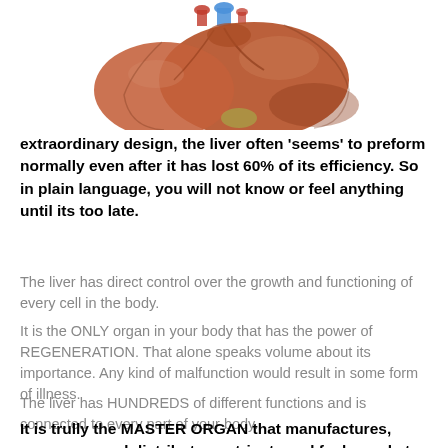[Figure (illustration): Partial illustration of a human liver, shown from below/front, with reddish-brown lobes and blue/red vessels at the top, cropped so only the top portion of the organ is visible.]
extraordinary design, the liver often ‘seems’ to preform normally even after it has lost 60% of its efficiency. So in plain language, you will not know or feel anything until its too late.
The liver has direct control over the growth and functioning of every cell in the body.
It is the ONLY organ in your body that has the power of REGENERATION. That alone speaks volume about its importance. Any kind of malfunction would result in some form of illness.
The liver has HUNDREDS of different functions and is connected to every part of your body.
It is trully the MASTER ORGAN that manufactures, processes and distributes nutrients and fuel supply to